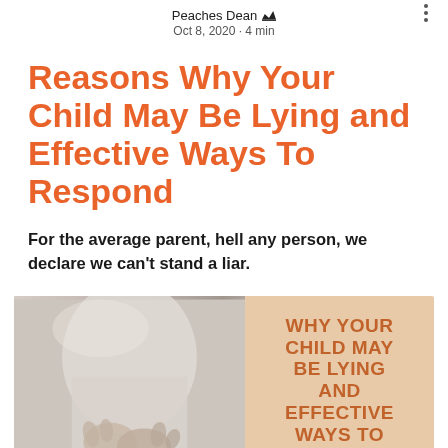Peaches Dean ♛
Oct 8, 2020 · 4 min
Reasons Why Your Child May Be Lying and Effective Ways To Respond
For the average parent, hell any person, we declare we can't stand a liar.
[Figure (photo): Split image: left side shows a blurred photo of a person (child?) with hands clasped/hidden behind back wearing a white shirt; right side is a peach/tan background with bold orange text reading WHY YOUR CHILD MAY BE LYING AND EFFECTIVE WAYS TO RESPOND]